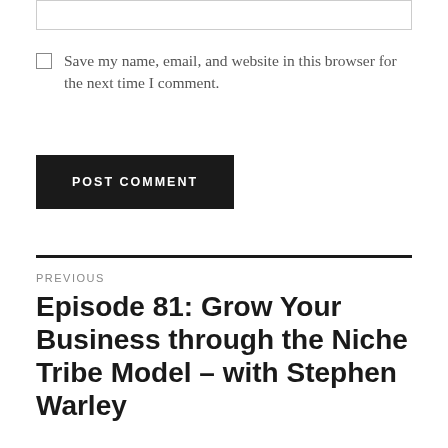Save my name, email, and website in this browser for the next time I comment.
POST COMMENT
PREVIOUS
Episode 81: Grow Your Business through the Niche Tribe Model – with Stephen Warley